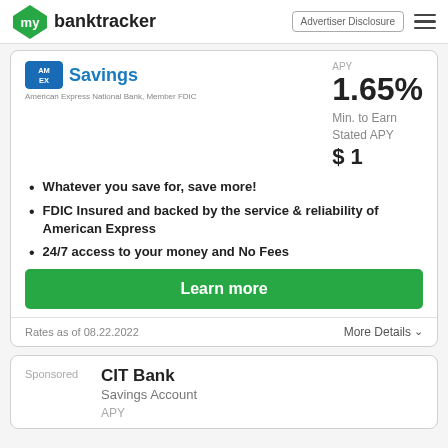mybanktracker | Advertiser Disclosure
APY 1.65% Min. to Earn Stated APY $1
Whatever you save for, save more!
FDIC Insured and backed by the service & reliability of American Express
24/7 access to your money and No Fees
Learn more
Rates as of 08.22.2022
More Details
Sponsored
CIT Bank Savings Account
APY